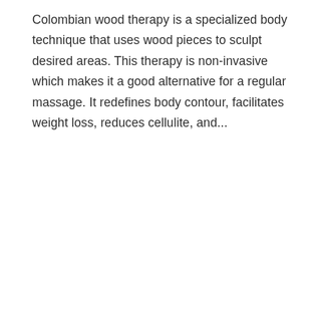Colombian wood therapy is a specialized body technique that uses wood pieces to sculpt desired areas. This therapy is non-invasive which makes it a good alternative for a regular massage. It redefines body contour, facilitates weight loss, reduces cellulite, and...
READ MORE
Colombian Wood Therapy Training Course
January 27, 2022   Fat Cavitation Courses   Body